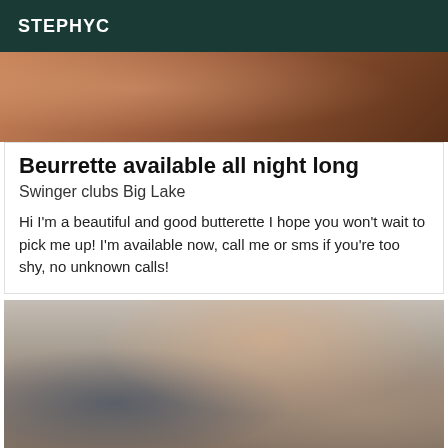STEPHYC
[Figure (photo): Partial top of a photo, showing a warm reddish-brown background, cropped at the top of the page]
Beurrette available all night long
Swinger clubs Big Lake
Hi I'm a beautiful and good butterette I hope you won't wait to pick me up! I'm available now, call me or sms if you're too shy, no unknown calls!
[Figure (photo): Photo of a young woman with long reddish-brown hair posing on a bed with white pillows and a blue headboard, with a light blue/grey wall in the background]